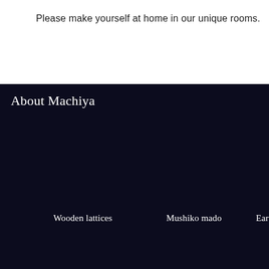Please make yourself at home in our unique rooms.
About Machiya
Wooden lattices
Mushiko mado
Earthen